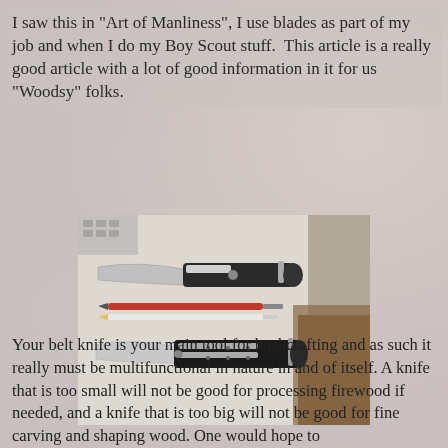I saw this in "Art of Manliness", I use blades as part of my job and when I do my Boy Scout stuff.  This article is a really good article with a lot of good information in it for us "Woodsy" folks.
[Figure (photo): Photo of two folding knives and a pen/pencil laid out on a white surface, with a wooden surface visible at the right edge.]
Your belt knife is your main tool for bushcrafting and as such it really must be multifunctional in nature in and of itself. A knife that is too small will not be good for processing firewood if needed, and a knife that is too big will not be good for fine carving and shaping wood. One would hope to have multiple tools at any given time and, in this case, one